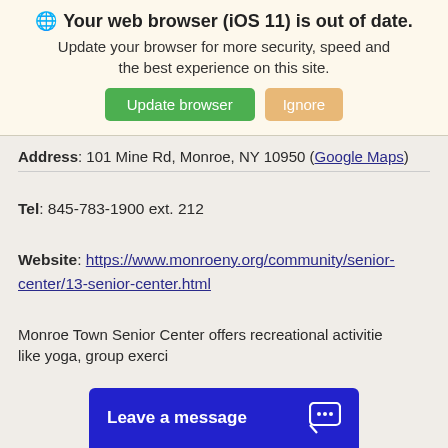[Figure (screenshot): Browser out-of-date warning banner with globe icon, bold title 'Your web browser (iOS 11) is out of date.', message text, and two buttons: 'Update browser' (green) and 'Ignore' (tan/orange)]
Address: 101 Mine Rd, Monroe, NY 10950 (Google Maps)
Tel: 845-783-1900 ext. 212
Website: https://www.monroeny.org/community/senior-center/13-senior-center.html
Monroe Town Senior Center offers recreational activities like yoga, group exerc...
[Figure (screenshot): Blue 'Leave a message' chat widget overlay at the bottom right of the screen with a chat bubble icon]